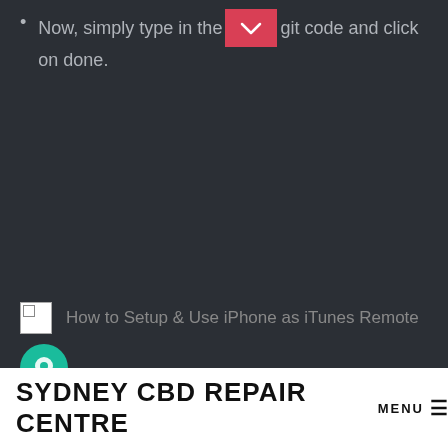Now, simply type in the 4-digit code and click on done.
[Figure (screenshot): Broken image placeholder with alt text: How to Setup & Use iPhone as iTunes Remote]
[Figure (other): Teal circular chat/support icon button]
SYDNEY CBD REPAIR CENTRE MENU ≡